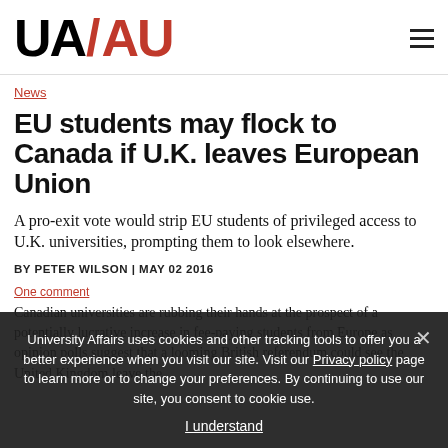UA/AU
News
EU students may flock to Canada if U.K. leaves European Union
A pro-exit vote would strip EU students of privileged access to U.K. universities, prompting them to look elsewhere.
BY PETER WILSON | MAY 02 2016
One comment
University Affairs uses cookies and other tracking tools to offer you a better experience when you visit our site. Visit our Privacy policy page to learn more or to change your preferences. By continuing to use our site, you consent to cookie use.
I understand
Canadian universities are rubbing their hands at the prospect of a potentially lucrative increase in fee-paying students from Europe as opinion polls suggest that a looming British referendum could see the United Kingdom leave the